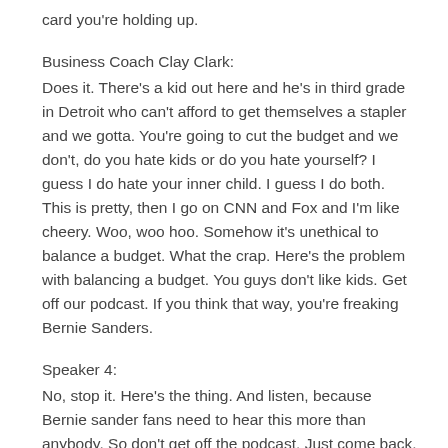card you're holding up.
Business Coach Clay Clark:
Does it. There's a kid out here and he's in third grade in Detroit who can't afford to get themselves a stapler and we gotta. You're going to cut the budget and we don't, do you hate kids or do you hate yourself? I guess I do hate your inner child. I guess I do both. This is pretty, then I go on CNN and Fox and I'm like cheery. Woo, woo hoo. Somehow it's unethical to balance a budget. What the crap. Here's the problem with balancing a budget. You guys don't like kids. Get off our podcast. If you think that way, you're freaking Bernie Sanders.
Speaker 4:
No, stop it. Here's the thing. And listen, because Bernie sander fans need to hear this more than anybody. So don't get off the podcast. Just come back. Give me two minutes completely reading the prescribed resubscribed. Yeah, and if you, if you hang in there and email me, I'll, I'll send you a fax. Okay. We unsubscribed, click and then hit subscribe to like a double-tap. I'll